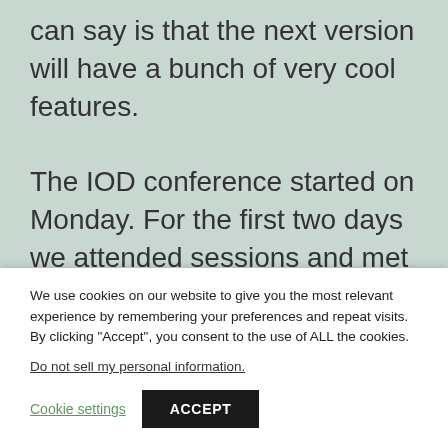can say is that the next version will have a bunch of very cool features.

The IOD conference started on Monday. For the first two days we attended sessions and met colleagues and IBMers. Monday night we had the traditional Informix party which was great as usual. On Wednesday and Thursday
We use cookies on our website to give you the most relevant experience by remembering your preferences and repeat visits. By clicking “Accept”, you consent to the use of ALL the cookies.
Do not sell my personal information.
Cookie settings
ACCEPT